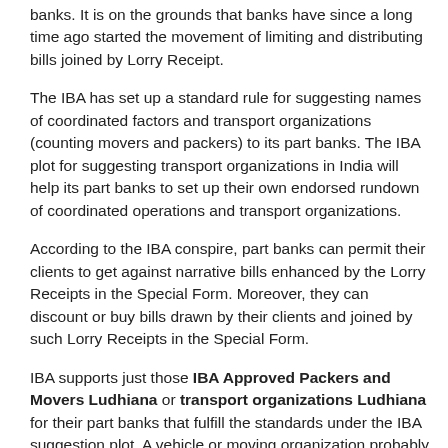banks. It is on the grounds that banks have since a long time ago started the movement of limiting and distributing bills joined by Lorry Receipt.
The IBA has set up a standard rule for suggesting names of coordinated factors and transport organizations (counting movers and packers) to its part banks. The IBA plot for suggesting transport organizations in India will help its part banks to set up their own endorsed rundown of coordinated operations and transport organizations.
According to the IBA conspire, part banks can permit their clients to get against narrative bills enhanced by the Lorry Receipts in the Special Form. Moreover, they can discount or buy bills drawn by their clients and joined by such Lorry Receipts in the Special Form.
IBA supports just those IBA Approved Packers and Movers Ludhiana or transport organizations Ludhiana for their part banks that fulfill the standards under the IBA suggestion plot. A vehicle or moving organization probably finished the endorsed documentation and has acknowledged the predetermined impulses, under the IBA Scheme.
B1 Call Now: 7227979947
B1 Whatsapp Now: 7227979947
IBA Approved Packers and Movers Ludhiana or ship